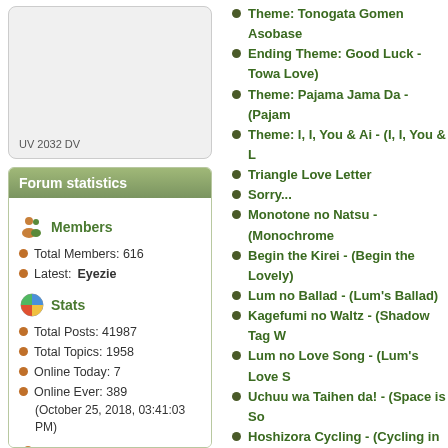[Figure (other): Partial image placeholder in left column, with label text 'UV 2032 DV']
Forum statistics
Members
Total Members: 616
Latest: Eyezie
Stats
Total Posts: 41987
Total Topics: 1958
Online Today: 7
Online Ever: 389
(October 25, 2018, 03:41:03 PM)
Users Online
Users: 0
Guests: 1
Theme: Tonogata Gomen Asobase
Ending Theme: Good Luck - Towa Love)
Theme: Pajama Jama Da - (Pajam
Theme: I, I, You & Ai - (I, I, You & L
Triangle Love Letter
Sorry...
Monotone no Natsu - (Monochrome
Begin the Kirei - (Begin the Lovely)
Lum no Ballad - (Lum's Ballad)
Kagefumi no Waltz - (Shadow Tag W
Lum no Love Song - (Lum's Love S
Uchuu wa Taihen da! - (Space is So
Hoshizora Cycling - (Cycling in the
A·RI·GA·TO! - (Thank you!)
Ai wa Buumeran - (Love is a Boom
Chance On Love
Moonlight Coaster
Rame-iro Doriimu - (Lum Colored D
Dream Forever
Every Day
Fushigi Kirei - (Mysteriously Pretty)
Hoshi no Memory - (Memory of Sta
Yume wa Love Me More - (My Drea
Koi no Mobius - (Love Mobius)
Margarita
Open Invitation
Remember My Love